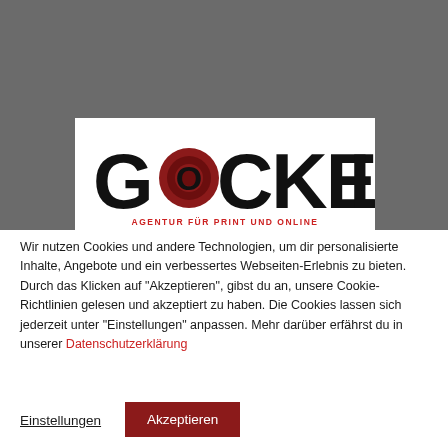[Figure (logo): Gockel agency logo — large bold black text 'GOCKEL' with a red circular emblem integrated into the letters, subtitle 'AGENTUR FÜR PRINT UND ONLINE' in red capitals, on a white background card set against a grey background.]
Wir nutzen Cookies und andere Technologien, um dir personalisierte Inhalte, Angebote und ein verbessertes Webseiten-Erlebnis zu bieten. Durch das Klicken auf "Akzeptieren", gibst du an, unsere Cookie-Richtlinien gelesen und akzeptiert zu haben. Die Cookies lassen sich jederzeit unter "Einstellungen" anpassen. Mehr darüber erfährst du in unserer Datenschutzerklärung
Einstellungen
Akzeptieren